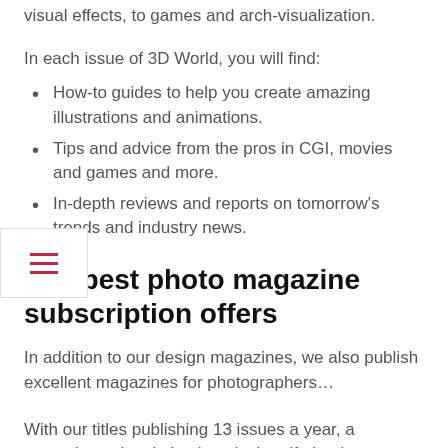visual effects, to games and arch-visualization.
In each issue of 3D World, you will find:
How-to guides to help you create amazing illustrations and animations.
Tips and advice from the pros in CGI, movies and games and more.
In-depth reviews and reports on tomorrow's trends and industry news.
The best photo magazine subscription offers
In addition to our design magazines, we also publish excellent magazines for photographers…
With our titles publishing 13 issues a year, a magazine subscription is truly the gift that keeps on being given, whether it's for yourself,